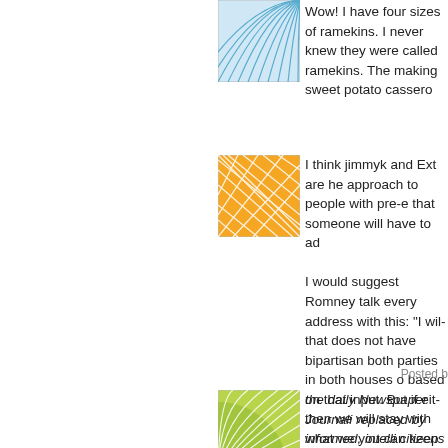[Figure (illustration): Blue wave/fan pattern avatar icon]
Wow! I have four sizes of ramekins. They were called ramekins. The making sweet potato cassero...
[Figure (illustration): Orange geometric lines pattern avatar icon]
I think jimmyk and Ext are he... approach to people with pre-e... that someone will have to ad...

I would suggest Romney talk... every address with this: "I wil... that does not have bipartisan... both parties in both houses o... based on that input. But if eit... then we will stay with what we... you can keep it."
Posted b...
[Figure (illustration): Green geometric fan/lines pattern avatar icon]
the daily Newspaper Journali... replaced by informed, intelli... citizens